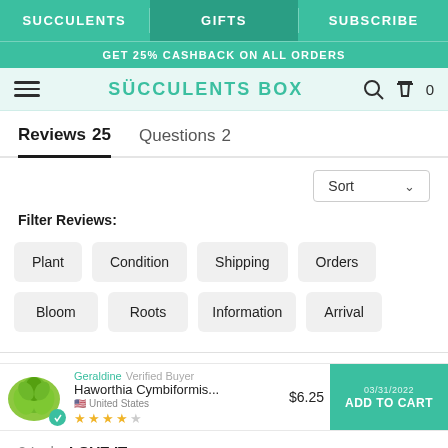SUCCULENTS | GIFTS | SUBSCRIBE
GET 25% CASHBACK ON ALL ORDERS
SUCCULENTS BOX
Reviews 25    Questions 2
Sort
Filter Reviews:
Plant
Condition
Shipping
Orders
Bloom
Roots
Information
Arrival
Geraldine  Verified Buyer  03/31/2022  United States  Haworthia Cymbiformis...  $6.25  ADD TO CART  2 Inch  LOVE IT